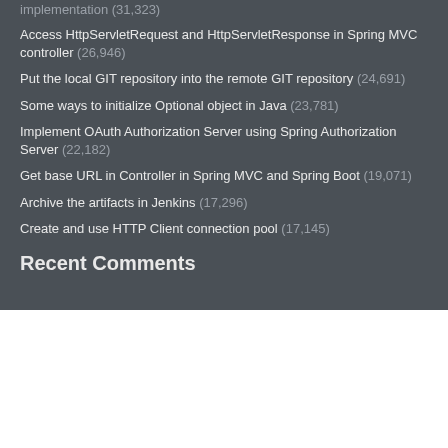implementation (31,323)
Access HttpServletRequest and HttpServletResponse in Spring MVC controller (26,946)
Put the local GIT repository into the remote GIT repository (24,691)
Some ways to initialize Optional object in Java (23,781)
Implement OAuth Authorization Server using Spring Authorization Server (22,182)
Get base URL in Controller in Spring MVC and Spring Boot (19,071)
Archive the artifacts in Jenkins (17,296)
Create and use HTTP Client connection pool (17,145)
Recent Comments